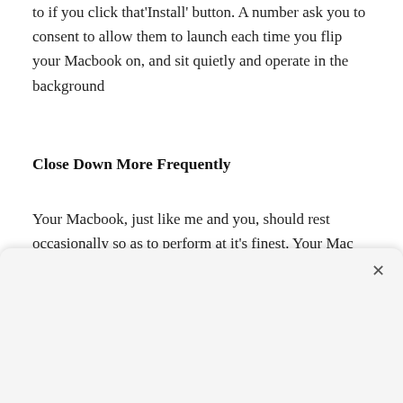to if you click that'Install' button. A number ask you to consent to allow them to launch each time you flip your Macbook on, and sit quietly and operate in the background
Close Down More Frequently
Your Macbook, just like me and you, should rest occasionally so as to perform at it's finest. Your Mac also has a couple of tools it uses mechanically to keep itself. A few of those tools only run through